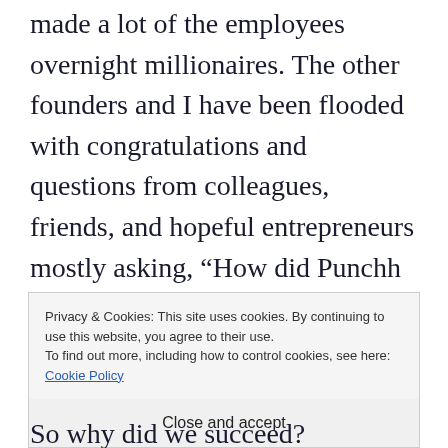made a lot of the employees overnight millionaires. The other founders and I have been flooded with congratulations and questions from colleagues, friends, and hopeful entrepreneurs mostly asking, “How did Punchh succeed where a lot of the competitors didn’t?”
We started Punchh, a loyalty app for restaurants, in 2010. We were going after a huge market – local businesses
Privacy & Cookies: This site uses cookies. By continuing to use this website, you agree to their use.
To find out more, including how to control cookies, see here: Cookie Policy
Close and accept
So why did we succeed?